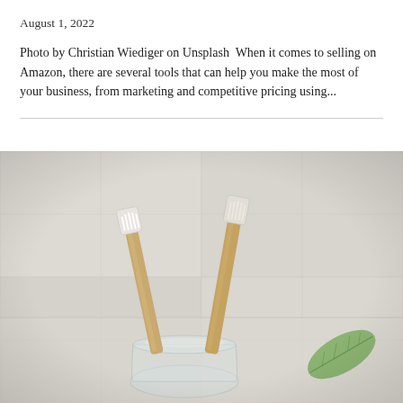August 1, 2022
Photo by Christian Wiediger on Unsplash  When it comes to selling on Amazon, there are several tools that can help you make the most of your business, from marketing and competitive pricing using...
[Figure (photo): Two bamboo toothbrushes in a clear glass jar on a light-colored surface, with a green leaf visible in the lower right, soft blurred background of white tiles.]